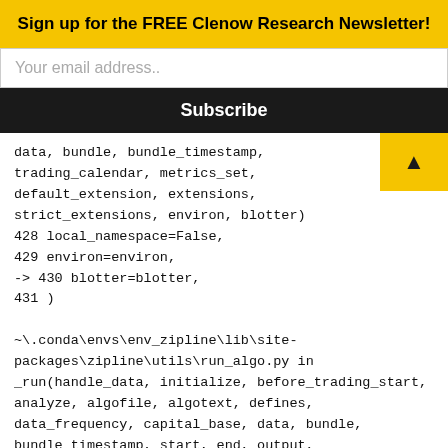Sign up for the FREE Clenow Research Newsletter!
Your email address..
Subscribe
data, bundle, bundle_timestamp, trading_calendar, metrics_set, default_extension, extensions, strict_extensions, environ, blotter)
428 local_namespace=False,
429 environ=environ,
-> 430 blotter=blotter,
431 )

~\.conda\envs\env_zipline\lib\site-packages\zipline\utils\run_algo.py in _run(handle_data, initialize, before_trading_start, analyze, algofile, algotext, defines, data_frequency, capital_base, data, bundle, bundle_timestamp, start, end, output, trading_calendar, print_algo, metrics_set, local_namespace, environ, blotter)
227 ).run(
228 data,
229 ...